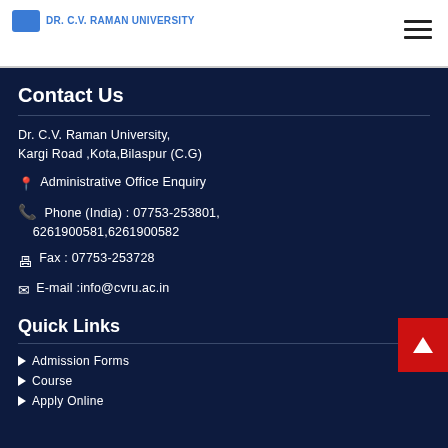Dr. C.V. Raman University
Contact Us
Dr. C.V. Raman University,
Kargi Road ,Kota,Bilaspur (C.G)
Administrative Office Enquiry
Phone (India) : 07753-253801, 6261900581,6261900582
Fax : 07753-253728
E-mail :info@cvru.ac.in
Quick Links
Admission Forms
Course
Apply Online
[Figure (other): Admission Chat bubble overlay with WhatsApp icon and text 'Admission Chat' / 'CVRUCG']